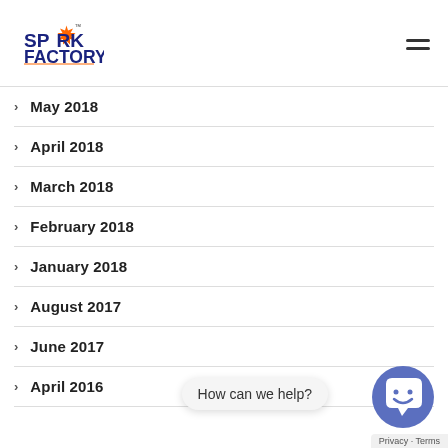Spark Factory logo and navigation menu
May 2018
April 2018
March 2018
February 2018
January 2018
August 2017
June 2017
April 2016
[Figure (illustration): Chat widget with smiley face icon and 'How can we help?' bubble]
Privacy · Terms